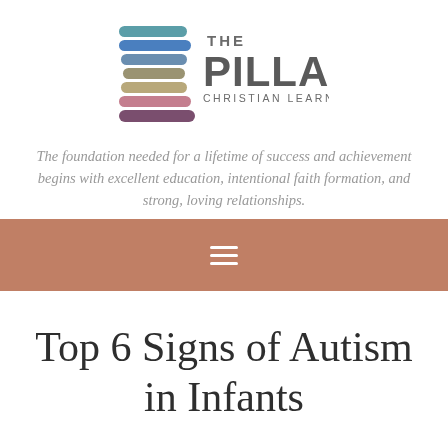[Figure (logo): The Pillars Christian Learning Center logo with stacked colorful horizontal bars on the left and text 'THE PILLARS CHRISTIAN LEARNING CENTER' on the right]
The foundation needed for a lifetime of success and achievement begins with excellent education, intentional faith formation, and strong, loving relationships.
[Figure (other): Hamburger menu icon (three horizontal lines) on a terracotta/brown background navigation bar]
Top 6 Signs of Autism in Infants